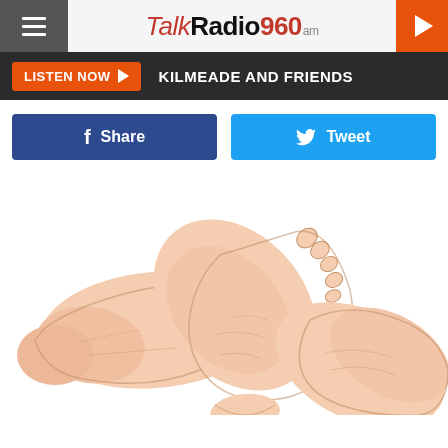[Figure (screenshot): TalkRadio960am website header with hamburger menu, logo, and play button]
LISTEN NOW ▶  KILMEADE AND FRIENDS
f Share   🐦 Tweet
[Figure (illustration): Illustration of two human feet / foot massage technique showing feet positioned against each other]